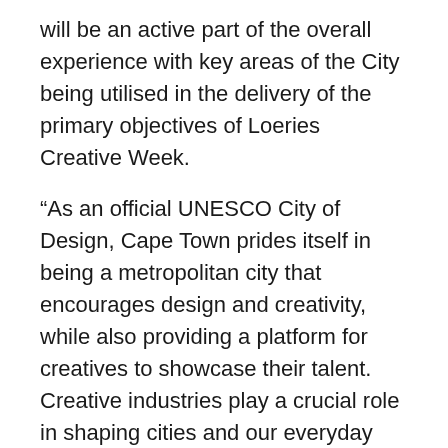will be an active part of the overall experience with key areas of the City being utilised in the delivery of the primary objectives of Loeries Creative Week.
“As an official UNESCO City of Design, Cape Town prides itself in being a metropolitan city that encourages design and creativity, while also providing a platform for creatives to showcase their talent. Creative industries play a crucial role in shaping cities and our everyday lives through innovation. As the City of Cape Town, we are proud to partner with The Loeries to enable idea sharing, while also celebrating the work of this industry. We are looking forward to welcoming Loeries Creative Week to the Mother City,” said Cape Town executive mayor Dan Plato.
Loeries Creative Week will be held from the 20– 22 October as a hybrid experience with physical and virtual elements. The festival offers a vibrant programme of seminars by key industry leaders, trends discussions with